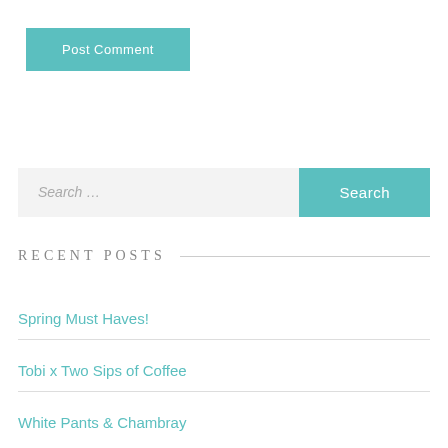Post Comment
Search …
RECENT POSTS
Spring Must Haves!
Tobi x Two Sips of Coffee
White Pants & Chambray